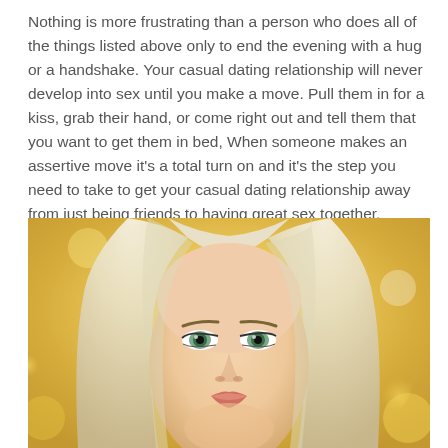Nothing is more frustrating than a person who does all of the things listed above only to end the evening with a hug or a handshake. Your casual dating relationship will never develop into sex until you make a move. Pull them in for a kiss, grab their hand, or come right out and tell them that you want to get them in bed, When someone makes an assertive move it's a total turn on and it's the step you need to take to get your casual dating relationship away from just being friends to having great sex together.
[Figure (photo): Close-up portrait of a blonde woman with light eyes, straight blonde hair framing her face, against a blurred warm yellow/golden bokeh background.]